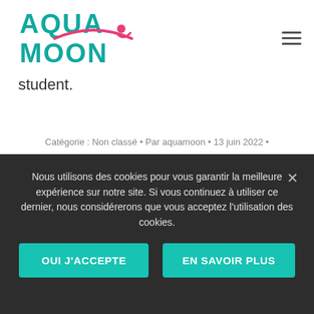[Figure (logo): Aquamoon logo — teal stylized text AQUA MOON with a pink arc and swimmer figure]
student.
Catégorie : Non classé • Par aquamoon • 13 juin 2022 •
Laisser un commentaire
Nous utilisons des cookies pour vous garantir la meilleure expérience sur notre site. Si vous continuez à utiliser ce dernier, nous considérerons que vous acceptez l'utilisation des cookies.
OUI J'ACCEPTE
EN SAVOIR PLUS